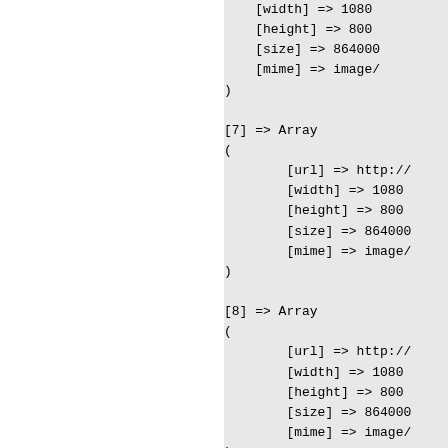[width] => 1080
    [height] => 800
    [size] => 864000
    [mime] => image/
)

[7] => Array
(
    [url] => http://
    [width] => 1080
    [height] => 800
    [size] => 864000
    [mime] => image/
)

[8] => Array
(
    [url] => http://
    [width] => 1080
    [height] => 800
    [size] => 864000
    [mime] => image/
)

[9] => Array
(
    [url] => http://
    [width] => 1080
    [height] => 800
    [size] => 864000